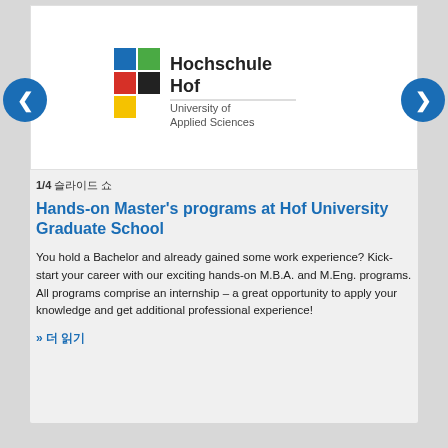[Figure (logo): Hochschule Hof University of Applied Sciences logo with colorful H icon]
1/4 슬라이드 쇼
Hands-on Master's programs at Hof University Graduate School
You hold a Bachelor and already gained some work experience? Kick-start your career with our exciting hands-on M.B.A. and M.Eng. programs. All programs comprise an internship – a great opportunity to apply your knowledge and get additional professional experience!
» 더 읽기